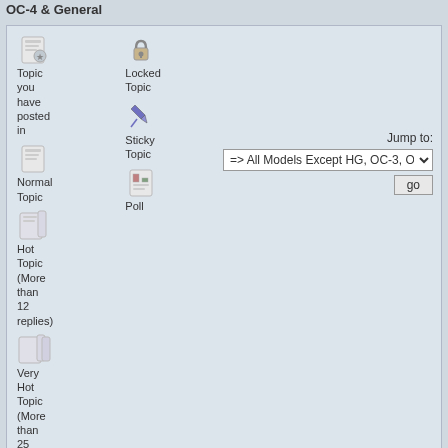OC-4 & General
[Figure (infographic): Forum legend box showing topic type icons: Topic you have posted in, Locked Topic, Sticky Topic, Normal Topic, Poll, Hot Topic (More than 12 replies), Very Hot Topic (More than 25 replies), with Jump to dropdown for All Models Except HG, OC-3, OC-4 & General]
Powered by SMF 1.1.21 | SMF © 2015, Simple Machines